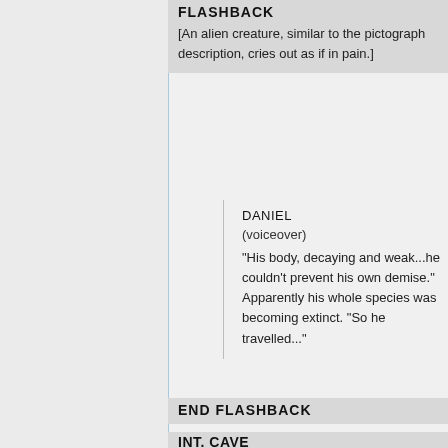FLASHBACK
[An alien creature, similar to the pictograph description, cries out as if in pain.]
DANIEL
(voiceover)
"His body, decaying and weak...he couldn't prevent his own demise." Apparently his whole species was becoming extinct. "So he travelled..."
END FLASHBACK
INT. CAVE